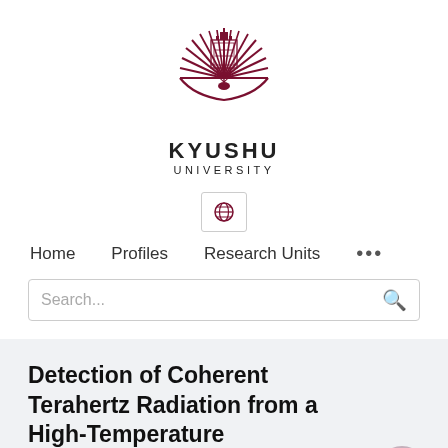[Figure (logo): Kyushu University logo — dark red/maroon sunburst emblem with radiating feather-like lines and a central crest]
KYUSHU
UNIVERSITY
[Figure (other): Globe/language selector icon in a small bordered box]
Home   Profiles   Research Units   •••
Search...
Detection of Coherent Terahertz Radiation from a High-Temperature Superconductor Josephson Junction